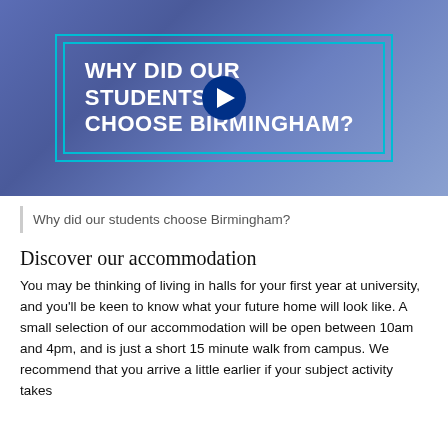[Figure (screenshot): Video thumbnail with dark blue/purple gradient background showing text 'WHY DID OUR STUDENTS CHOOSE BIRMINGHAM?' inside a cyan border rectangle, with a circular play button overlay in the center.]
Why did our students choose Birmingham?
Discover our accommodation
You may be thinking of living in halls for your first year at university, and you'll be keen to know what your future home will look like. A small selection of our accommodation will be open between 10am and 4pm, and is just a short 15 minute walk from campus. We recommend that you arrive a little earlier if your subject activity takes